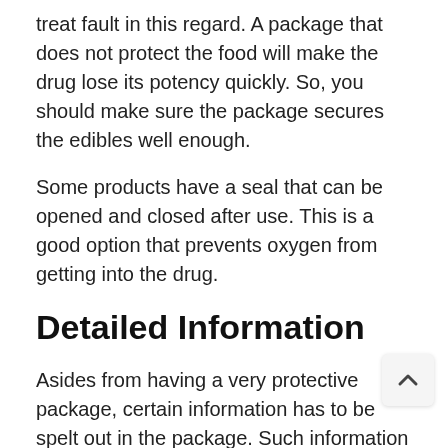treat fault in this regard. A package that does not protect the food will make the drug lose its potency quickly. So, you should make sure the package secures the edibles well enough.
Some products have a seal that can be opened and closed after use. This is a good option that prevents oxygen from getting into the drug.
Detailed Information
Asides from having a very protective package, certain information has to be spelt out in the package. Such information includes: whether it is an isolate or full-spectrum product, net weight, amount of mg per treat, number of treats in the package, 3rd party lab informa ingredients used, and flavor.
This information is very critical in choosing to purchase an